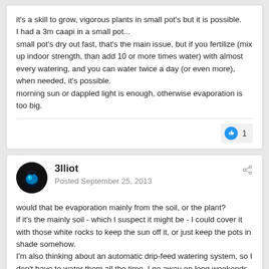it's a skill to grow, vigorous plants in small pot's but it is possible.
I had a 3m caapi in a small pot...
small pot's dry out fast, that's the main issue, but if you fertilize (mix up indoor strength, than add 10 or more times water) with almost every watering, and you can water twice a day (or even more), when needed, it's possible.
morning sun or dappled light is enough, otherwise evaporation is too big.
3lliot
Posted September 25, 2013
would that be evaporation mainly from the soil, or the plant?
if it's the mainly soil - which I suspect it might be - I could cover it with those white rocks to keep the sun off it, or just keep the pots in shade somehow.
I'm also thinking about an automatic drip-feed watering system, so I don't have to water them all the time. I go away on long weekends quite a lot & there often isn't someone else there to water stuff.